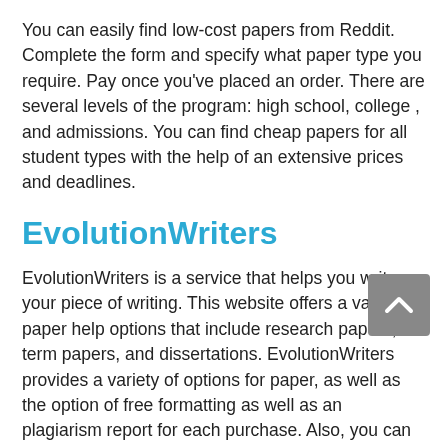You can easily find low-cost papers from Reddit. Complete the form and specify what paper type you require. Pay once you've placed an order. There are several levels of the program: high school, college , and admissions. You can find cheap papers for all student types with the help of an extensive prices and deadlines.
EvolutionWriters
EvolutionWriters is a service that helps you write your piece of writing. This website offers a variety of paper help options that include research papers, term papers, and dissertations. EvolutionWriters provides a variety of options for paper, as well as the option of free formatting as well as an plagiarism report for each purchase. Also, you can ask for extras such as title pages and references pages. EvolutionWriters provides